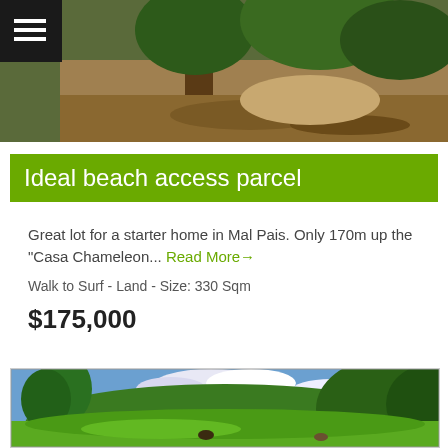[Figure (photo): Top photo showing a tropical path with trees and fallen leaves, partial view]
Ideal beach access parcel
Great lot for a starter home in Mal Pais. Only 170m up the “Casa Chameleon... Read More→
Walk to Surf - Land - Size: 330 Sqm
$175,000
[Figure (photo): Lush green tropical landscape with tall trees, blue sky with white clouds, and green open field with animals grazing]